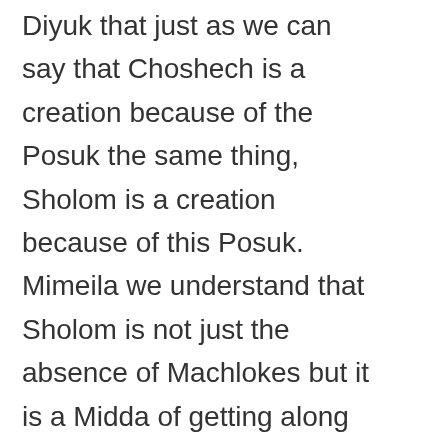Diyuk that just as we can say that Choshech is a creation because of the Posuk the same thing, Sholom is a creation because of this Posuk. Mimeila we understand that Sholom is not just the absence of Machlokes but it is a Midda of getting along with somebody else. With this we understand the Gemara in Maseches Yevamos 62b (12 lines from the bottom). The Gemara there talks about the advantages of marriage. (אמר רבי תנחום א"ר חנילאי כל אדם שאין לו אשה שרוי בלא